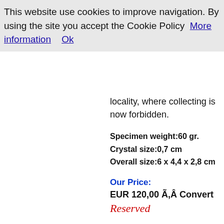This website use cookies to improve navigation. By using the site you accept the Cookie Policy  More information    Ok
locality, where collecting is now forbidden.
Specimen weight:60 gr.
Crystal size:0,7 cm
Overall size:6 x 4,4 x 2,8 cm
Our Price:
EUR 120,00 Ã,Â Convert
Reserved
Owner : Ferrero 's (Torino-Italy) View all dealer's minerals
This specimen will be shipped by: Ferrero 's